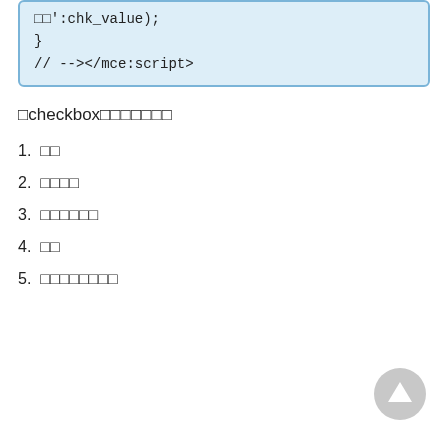□□':chk_value);
}
// --></mce:script>
□checkbox□□□□□□□
1.  □□
2.  □□□□
3.  □□□□□□
4.  □□
5.  □□□□□□□□
[Figure (other): Scroll-to-top circular button with upward arrow icon]